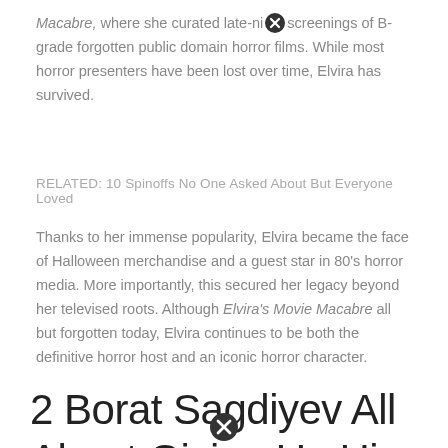Macabre, where she curated late-night screenings of B-grade forgotten public domain horror films. While most horror presenters have been lost over time, Elvira has survived.
RELATED: 10 Spinoffs No One Asked About But Everyone Loved
Thanks to her immense popularity, Elvira became the face of Halloween merchandise and a guest star in 80's horror media. More importantly, this secured her legacy beyond her televised roots. Although Elvira's Movie Macabre all but forgotten today, Elvira continues to be both the definitive horror host and an iconic horror character.
2 Borat Sagdiyev All About Giving Up His TV Roots (Da Ali G Show)